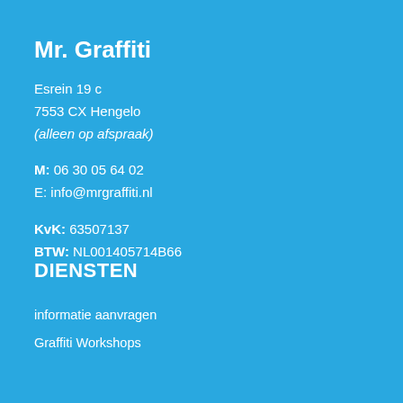Mr. Graffiti
Esrein 19 c
7553 CX Hengelo
(alleen op afspraak)
M: 06 30 05 64 02
E: info@mrgraffiti.nl
KvK: 63507137
BTW: NL001405714B66
DIENSTEN
informatie aanvragen
Graffiti Workshops